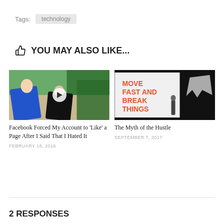Tags:  technology
YOU MAY ALSO LIKE...
[Figure (photo): Photo of people outdoors with a video play button overlay]
[Figure (photo): Photo of a presenter on stage in front of a screen reading MOVE FAST AND BREAK THINGS]
Facebook Forced My Account to ‘Like’ a Page After I Said That I Hated It
FEBRUARY 18, 2016
The Myth of the Hustle
SEPTEMBER 7, 2017
2 RESPONSES